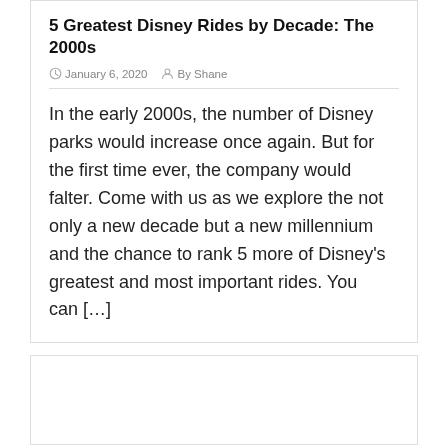5 Greatest Disney Rides by Decade: The 2000s
January 6, 2020   By Shane
In the early 2000s, the number of Disney parks would increase once again. But for the first time ever, the company would falter. Come with us as we explore the not only a new decade but a new millennium and the chance to rank 5 more of Disney's greatest and most important rides. You can […]